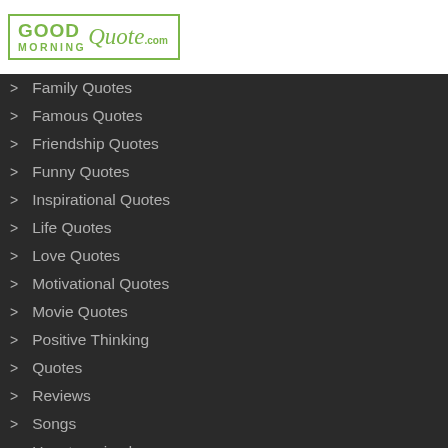[Figure (logo): GoodMorningQuote.com logo with green border and green text]
Family Quotes
Famous Quotes
Friendship Quotes
Funny Quotes
Inspirational Quotes
Life Quotes
Love Quotes
Motivational Quotes
Movie Quotes
Positive Thinking
Quotes
Reviews
Songs
Uncategorized